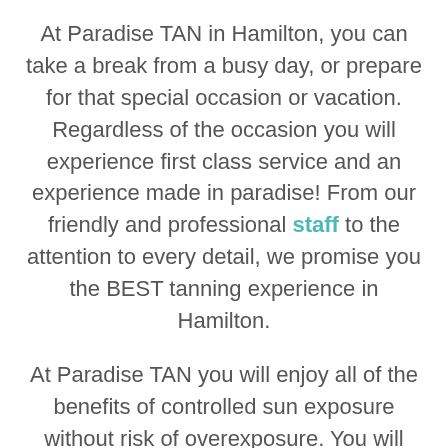At Paradise TAN in Hamilton, you can take a break from a busy day, or prepare for that special occasion or vacation. Regardless of the occasion you will experience first class service and an experience made in paradise! From our friendly and professional staff to the attention to every detail, we promise you the BEST tanning experience in Hamilton.
At Paradise TAN you will enjoy all of the benefits of controlled sun exposure without risk of overexposure. You will appreciate and really enjoy our